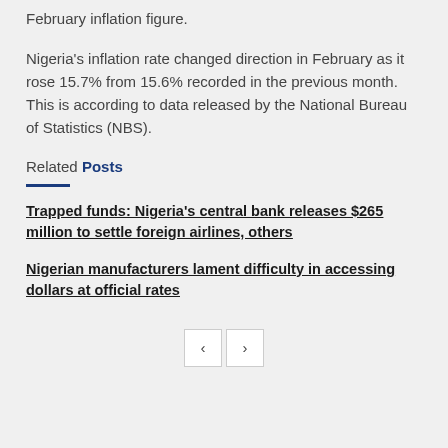February inflation figure.
Nigeria's inflation rate changed direction in February as it rose 15.7% from 15.6% recorded in the previous month. This is according to data released by the National Bureau of Statistics (NBS).
Related Posts
Trapped funds: Nigeria's central bank releases $265 million to settle foreign airlines, others
Nigerian manufacturers lament difficulty in accessing dollars at official rates